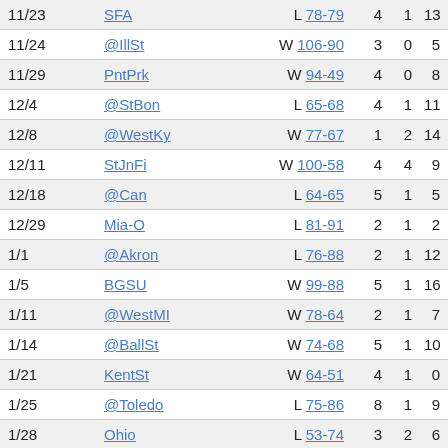| Date | Opponent | Result | Col4 | Col5 | Col6 |
| --- | --- | --- | --- | --- | --- |
| 11/23 | SFA | L 78-79 | 4 | 1 | 13 |
| 11/24 | @IllSt | W 106-90 | 3 | 0 | 5 |
| 11/29 | PntPrk | W 94-49 | 4 | 0 | 8 |
| 12/4 | @StBon | L 65-68 | 4 | 1 | 11 |
| 12/8 | @WestKy | W 77-67 | 1 | 2 | 14 |
| 12/11 | StJnFi | W 100-58 | 4 | 4 | 9 |
| 12/18 | @Can | L 64-65 | 5 | 1 | 5 |
| 12/29 | Mia-O | L 81-91 | 2 | 1 | 2 |
| 1/1 | @Akron | L 76-88 | 2 | 1 | 12 |
| 1/5 | BGSU | W 99-88 | 5 | 1 | 16 |
| 1/11 | @WestMI | W 78-64 | 2 | 1 | 7 |
| 1/14 | @BallSt | W 74-68 | 5 | 1 | 10 |
| 1/21 | KentSt | W 64-51 | 4 | 1 | 0 |
| 1/25 | @Toledo | L 75-86 | 8 | 1 | 9 |
| 1/28 | Ohio | L 53-74 | 3 | 2 | 6 |
| 2/5 | @CentMi | W 74-54 | 9 | 2 | 10 |
| 2/8 | EastMi | W 102-64 | 9 | 3 | 22 |
| 2/12 | BallSt | W 80-74 | 4 | 1 | 10 |